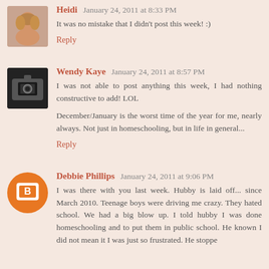Heidi January 24, 2011 at 8:33 PM
It was no mistake that I didn't post this week! :)
Reply
Wendy Kaye January 24, 2011 at 8:57 PM
I was not able to post anything this week, I had nothing constructive to add! LOL
December/January is the worst time of the year for me, nearly always. Not just in homeschooling, but in life in general...
Reply
Debbie Phillips January 24, 2011 at 9:06 PM
I was there with you last week. Hubby is laid off... since March 2010. Teenage boys were driving me crazy. They hated school. We had a big blow up. I told hubby I was done homeschooling and to put them in public school. He known I did not mean it I was just so frustrated. He stoppe